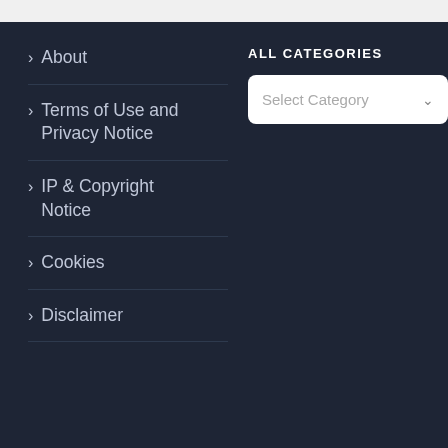> About
> Terms of Use and Privacy Notice
ALL CATEGORIES
[Figure (screenshot): Select Category dropdown box with white background and down arrow]
> IP & Copyright Notice
> Cookies
> Disclaimer